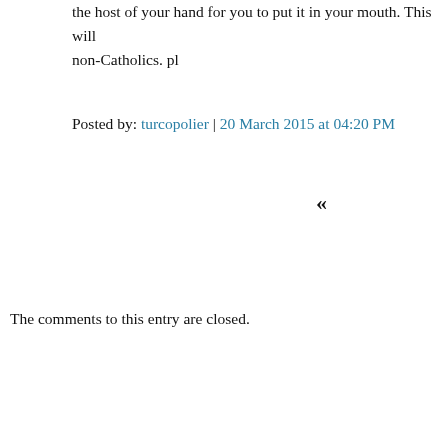the host of your hand for you to put it in your mouth. This will non-Catholics. pl
Posted by: turcopolier | 20 March 2015 at 04:20 PM
«
The comments to this entry are closed.